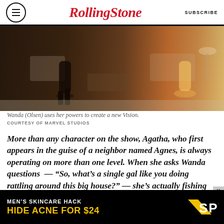Rolling Stone | SUBSCRIBE
[Figure (photo): Still from WandaVision showing a figure walking across a living room, with glowing light in the background.]
Wanda (Olsen) uses her powers to create a new Vision.
COURTESY OF MARVEL STUDIOS
More than any character on the show, Agatha, who first appears in the guise of a neighbor named Agnes, is always operating on more than one level. When she asks Wanda questions  — “So, what’s a single gal like you doing rattling around this big house?” — she’s actually fishing for information on the magical event she knew
[Figure (screenshot): Advertisement banner: MEN'S SKINCARE HACK HIDE ACNE FOR $24 — SPY logo]